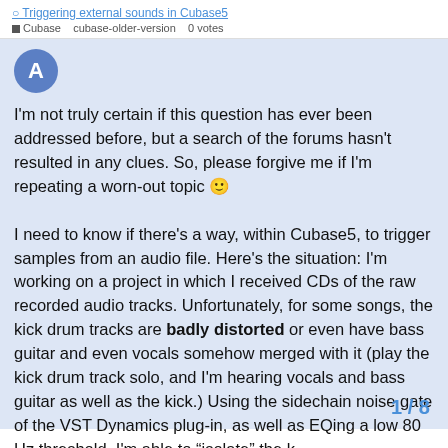Triggering external sounds in Cubase5
Cubase   cubase-older-version   0 votes
[Figure (other): User avatar circle with letter A on blue background]
I'm not truly certain if this question has ever been addressed before, but a search of the forums hasn't resulted in any clues. So, please forgive me if I'm repeating a worn-out topic 🙂

I need to know if there's a way, within Cubase5, to trigger samples from an audio file. Here's the situation: I'm working on a project in which I received CDs of the raw recorded audio tracks. Unfortunately, for some songs, the kick drum tracks are badly distorted or even have bass guitar and even vocals somehow merged with it (play the kick drum track solo, and I'm hearing vocals and bass guitar as well as the kick.) Using the sidechain noise gate of the VST Dynamics plug-in, as well as EQing a low 80 Hz threshold, I'm able to "isolate" the k
1 / 8